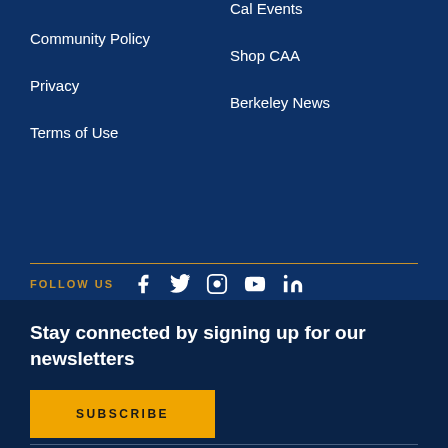Community Policy
Privacy
Terms of Use
Cal Events
Shop CAA
Berkeley News
[Figure (infographic): Social media follow icons row: FOLLOW US label in gold, followed by Facebook, Twitter, Instagram, YouTube, and LinkedIn icons in white]
Stay connected by signing up for our newsletters
SUBSCRIBE